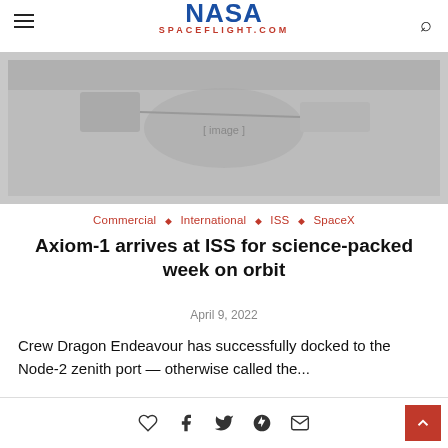NASA SPACEFLIGHT.COM
[Figure (photo): Hero image showing a spacecraft or ISS scene, rendered in grayscale placeholder]
Commercial ◇ International ◇ ISS ◇ SpaceX
Axiom-1 arrives at ISS for science-packed week on orbit
April 9, 2022
Crew Dragon Endeavour has successfully docked to the Node-2 zenith port — otherwise called the...
♡  f  𝕏   Pinterest  ✉